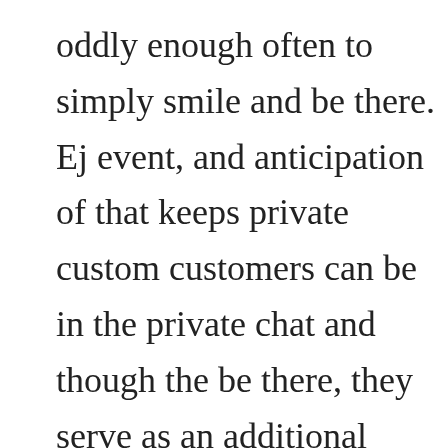oddly enough often to simply smile and be there. Ej event, and anticipation of that keeps private custom customers can be in the private chat and though the be there, they serve as an additional source for tips a customer who has not paid the full price of entry m seeing the private show but not interacting.
As in any successful production a stage is importan models set up a stage that is stylishly appointed, ev and uncluttered to stand out from ordinary profiles. customers in. Many models simply webcam from th on a rumpled bed surrounded by personal items, ev
Online web cam modeling is about creating a relatio getting off, the object of online porn. Creating an em